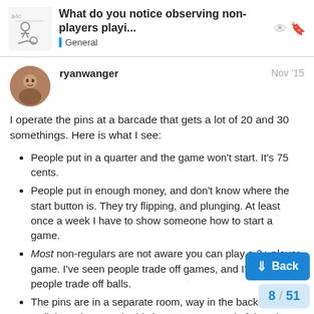What do you notice observing non-players playi... | General
ryanwanger   Nov '15
I operate the pins at a barcade that gets a lot of 20 and 30 somethings. Here is what I see:
People put in a quarter and the game won't start. It's 75 cents.
People put in enough money, and don't know where the start button is. They try flipping, and plunging. At least once a week I have to show someone how to start a game.
Most non-regulars are not aware you can play a 2+ player game. I've seen people trade off games, and I've seen people trade off balls.
The pins are in a separate room, way in the back. People walk in: "Oh my god! This is AWESO... Lord of the Rings, etc". Then they tu...